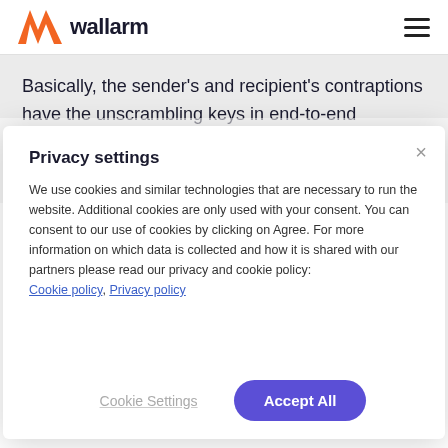wallarm
Basically, the sender's and recipient's contraptions have the unscrambling keys in end-to-end encryption, paying little mind to called cryptographic keys. Messages and
Privacy settings
We use cookies and similar technologies that are necessary to run the website. Additional cookies are only used with your consent. You can consent to our use of cookies by clicking on Agree. For more information on which data is collected and how it is shared with our partners please read our privacy and cookie policy: Cookie policy, Privacy policy